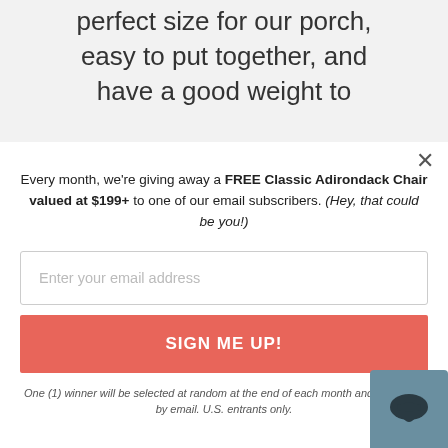perfect size for our porch, easy to put together, and have a good weight to
Every month, we're giving away a FREE Classic Adirondack Chair valued at $199+ to one of our email subscribers. (Hey, that could be you!)
Enter your email address
SIGN ME UP!
One (1) winner will be selected at random at the end of each month and contacted by email. U.S. entrants only.